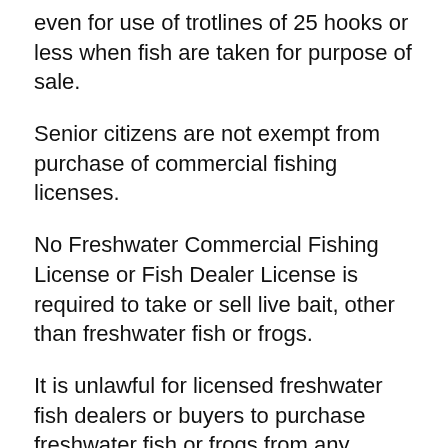even for use of trotlines of 25 hooks or less when fish are taken for purpose of sale.
Senior citizens are not exempt from purchase of commercial fishing licenses.
No Freshwater Commercial Fishing License or Fish Dealer License is required to take or sell live bait, other than freshwater fish or frogs.
It is unlawful for licensed freshwater fish dealers or buyers to purchase freshwater fish or frogs from any unlicensed person. All boats engaged in commercial fishing shall